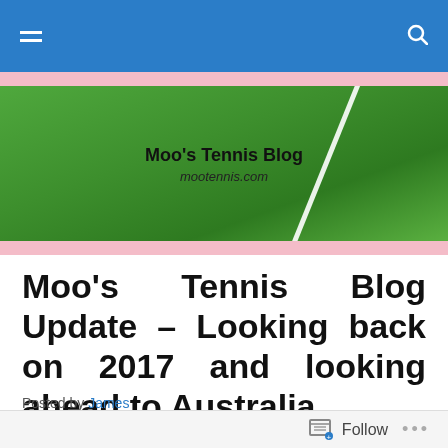Navigation bar with hamburger menu and search icon
[Figure (photo): Blog header image showing green tennis court grass with a white line, overlaid with text 'Moo's Tennis Blog' and 'mootennis.com']
Moo’s Tennis Blog Update – Looking back on 2017 and looking ahead to Australia
Posted by James
[Figure (photo): Sky with white cloud and partial view of a blue building in the top right corner]
Follow  …